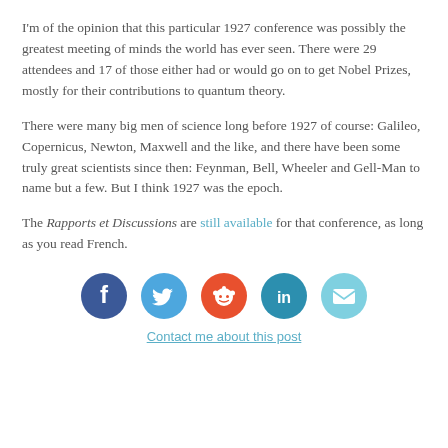I'm of the opinion that this particular 1927 conference was possibly the greatest meeting of minds the world has ever seen. There were 29 attendees and 17 of those either had or would go on to get Nobel Prizes, mostly for their contributions to quantum theory.
There were many big men of science long before 1927 of course: Galileo, Copernicus, Newton, Maxwell and the like, and there have been some truly great scientists since then: Feynman, Bell, Wheeler and Gell-Man to name but a few. But I think 1927 was the epoch.
The Rapports et Discussions are still available for that conference, as long as you read French.
[Figure (infographic): Social sharing icons row: Facebook (blue circle with f), Twitter (blue circle with bird), Reddit (orange-red circle with alien), LinkedIn (teal circle with in), Email (light blue circle with envelope)]
Contact me about this post